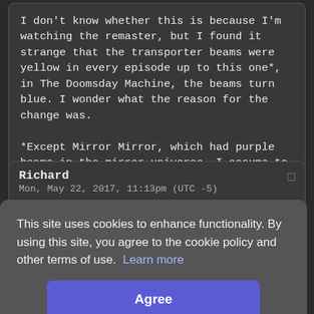I don't know whether this is because I'm watching the remaster, but I found it strange that the transporter beams were yellow in every episode up to this one*, in The Doomsday Machine, the beams turn blue. I wonder what the reason for the change was.

*Except Mirror Mirror, which had purple beams in the mirror universe, I assume to differentiate the universes
Richard
Mon, May 22, 2017, 11:13pm (UTC -5)
This site uses cookies to enhance functionality. By using this site, you agree to the cookie policy and other terms of use.  Learn more
Agree
Alex